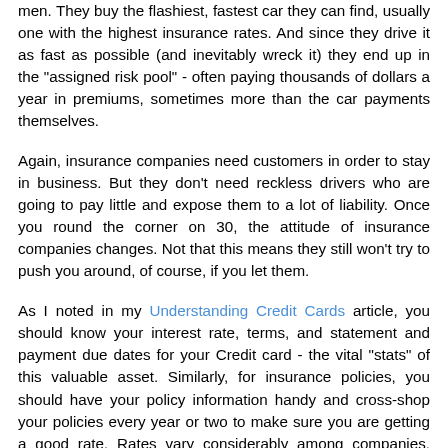men. They buy the flashiest, fastest car they can find, usually one with the highest insurance rates. And since they drive it as fast as possible (and inevitably wreck it) they end up in the "assigned risk pool" - often paying thousands of dollars a year in premiums, sometimes more than the car payments themselves.
Again, insurance companies need customers in order to stay in business. But they don't need reckless drivers who are going to pay little and expose them to a lot of liability. Once you round the corner on 30, the attitude of insurance companies changes. Not that this means they still won't try to push you around, of course, if you let them.
As I noted in my Understanding Credit Cards article, you should know your interest rate, terms, and statement and payment due dates for your Credit card - the vital "stats" of this valuable asset. Similarly, for insurance policies, you should have your policy information handy and cross-shop your policies every year or two to make sure you are getting a good rate. Rates vary considerably among companies. Many insurance companies make it hard to keep track of